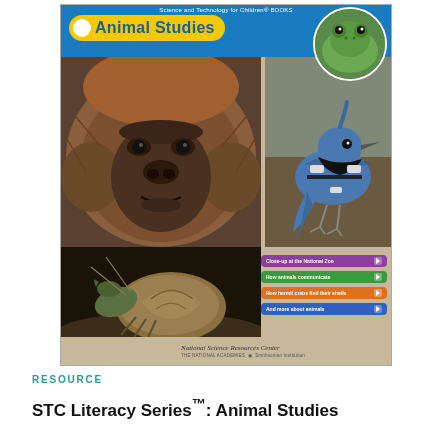[Figure (illustration): Book cover for 'Animal Studies' from the STC Literacy Series / Science and Technology for Children books, published by National Science Resources Center. Features photos of an orangutan face, a blue jay bird, a frog in a circle, a hermit crab, and colored menu buttons for topics including Close-up at the National Zoo, How animals communicate, How hermit crabs find their shells, and And more about animals.]
RESOURCE
STC Literacy Series™: Animal Studies